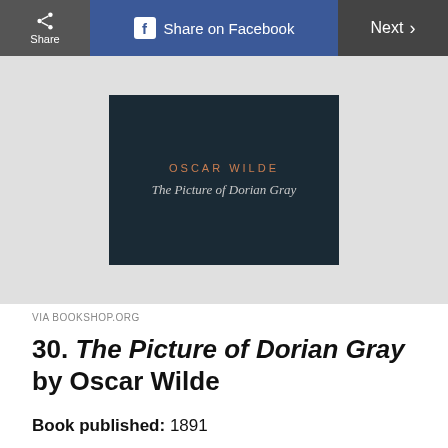Share | Share on Facebook | Next
[Figure (photo): Book cover of The Picture of Dorian Gray by Oscar Wilde, showing author name in copper/orange letters and title in italic silver on a dark teal/navy background]
VIA BOOKSHOP.ORG
30. The Picture of Dorian Gray by Oscar Wilde
Book published: 1891
Movie released: 1945 and 2009
Oscar Wilde's only novel, The Picture of Dorian Gray, is steeped in controversy: It was first published in a magazine, short hundreds of words,